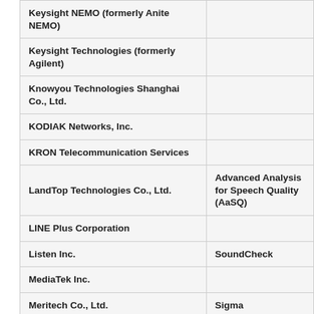| Company | Product/Tool |
| --- | --- |
| Keysight NEMO (formerly Anite NEMO) |  |
| Keysight Technologies (formerly Agilent) |  |
| Knowyou Technologies Shanghai Co., Ltd. |  |
| KODIAK Networks, Inc. |  |
| KRON Telecommunication Services |  |
| LandTop Technologies Co., Ltd. | Advanced Analysis for Speech Quality (AaSQ) |
| LINE Plus Corporation |  |
| Listen Inc. | SoundCheck |
| MediaTek Inc. |  |
| Meritech Co., Ltd. | Sigma |
| Metricell Limited |  |
| MH Acoustics LLC |  |
| Microsoft Mobile Oy |  |
| MicroVision |  |
| Mobile Integration Workgroup | MCellblock, Mobile Test |